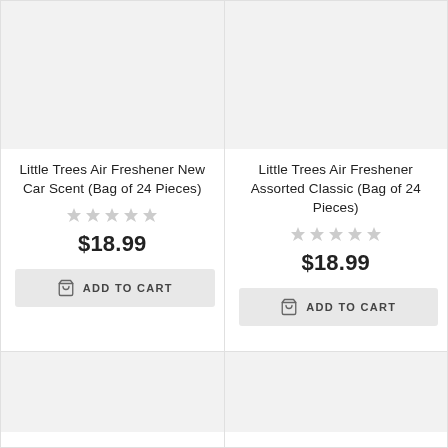[Figure (photo): Product image placeholder for Little Trees Air Freshener New Car Scent (Bag of 24 Pieces) - top left card]
Little Trees Air Freshener New Car Scent (Bag of 24 Pieces)
★★★★★ (empty stars)
$18.99
ADD TO CART
[Figure (photo): Product image placeholder for Little Trees Air Freshener Assorted Classic (Bag of 24 Pieces) - top right card]
Little Trees Air Freshener Assorted Classic (Bag of 24 Pieces)
★★★★★ (empty stars)
$18.99
ADD TO CART
[Figure (photo): Product image placeholder - bottom left card (partial)]
[Figure (photo): Product image placeholder - bottom right card (partial)]